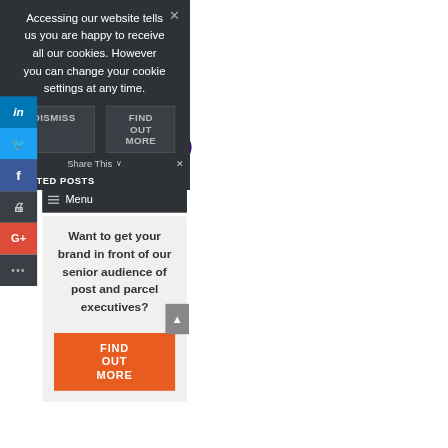Accessing our website tells us you are happy to receive all our cookies. However you can change your cookie settings at any time.
DISMISS
FIND OUT MORE
[Figure (screenshot): Yellow advertisement banner reading '& INTELLIGENT RETURNS MANAGEMENT' with a purple 'FIND OUT MORE' button and Doddle logo]
Menu
Want to get your brand in front of our senior audience of post and parcel executives?
FIND OUT MORE
Share This
RELATED POSTS